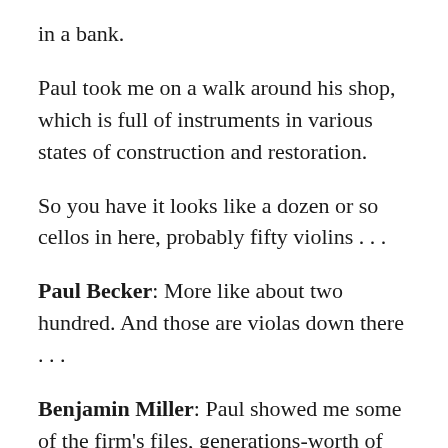in a bank.
Paul took me on a walk around his shop, which is full of instruments in various states of construction and restoration.
So you have it looks like a dozen or so cellos in here, probably fifty violins . . .
Paul Becker: More like about two hundred. And those are violas down there . . .
Benjamin Miller: Paul showed me some of the firm's files, generations-worth of precise diagrams of incredibly rare and valuable